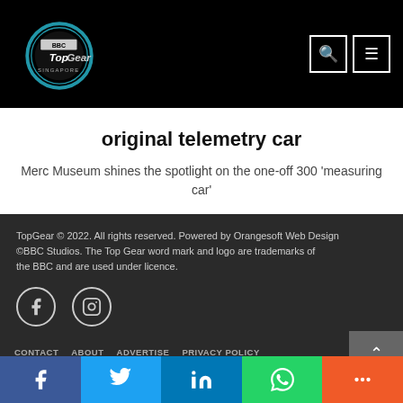BBC Top Gear Singapore
original telemetry car
Merc Museum shines the spotlight on the one-off 300 'measuring car'
TopGear © 2022. All rights reserved. Powered by Orangesoft Web Design
©BBC Studios. The Top Gear word mark and logo are trademarks of the BBC and are used under licence.
CONTACT   ABOUT   ADVERTISE   PRIVACY POLICY